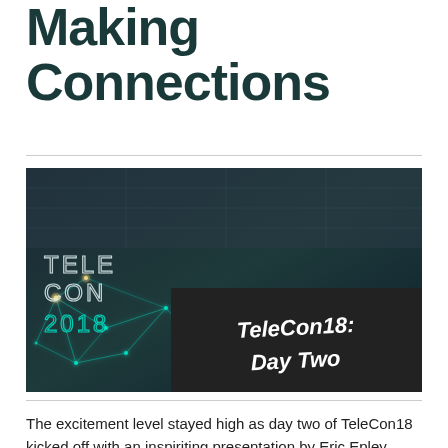Making Connections
[Figure (photo): TeleCon18 Day Two promotional image — network/technology background with glowing connected nodes and text overlay reading 'TELECON 2018' on the left and 'TeleCon18: Day Two' on a dark banner on the right.]
The excitement level stayed high as day two of TeleCon18 kicked off with an inspiriting presentation by Eric Epley, Executive Director of the Southwest Texas Regional Advi...